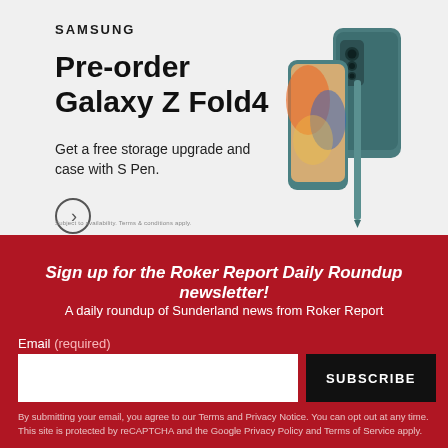[Figure (infographic): Samsung advertisement for Galaxy Z Fold4 pre-order, showing the phone and S Pen on a light grey background]
Sign up for the Roker Report Daily Roundup newsletter!
A daily roundup of Sunderland news from Roker Report
Email (required)
SUBSCRIBE
By submitting your email, you agree to our Terms and Privacy Notice. You can opt out at any time. This site is protected by reCAPTCHA and the Google Privacy Policy and Terms of Service apply.